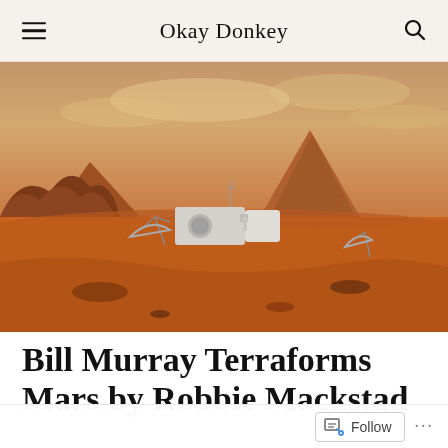Okay Donkey
[Figure (photo): A science-fiction illustration of a Mars base on a red, rocky desert landscape. A modular habitat structure with satellite dishes sits on the Martian surface, with reddish rock formations on the left and a large mountain in the background under a hazy orange sky.]
Bill Murray Terraforms Mars by Robbie Mackstad